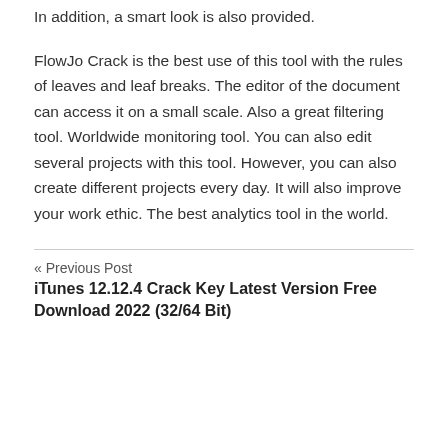In addition, a smart look is also provided.
FlowJo Crack is the best use of this tool with the rules of leaves and leaf breaks. The editor of the document can access it on a small scale. Also a great filtering tool. Worldwide monitoring tool. You can also edit several projects with this tool. However, you can also create different projects every day. It will also improve your work ethic. The best analytics tool in the world.
« Previous Post
iTunes 12.12.4 Crack Key Latest Version Free Download 2022 (32/64 Bit)